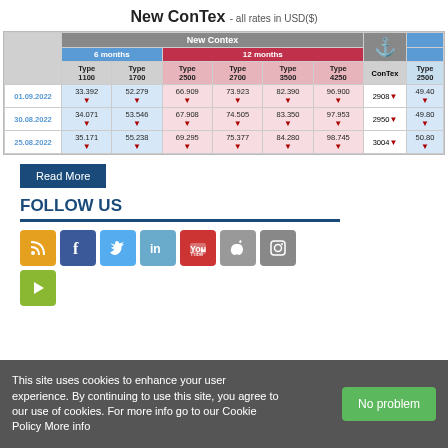New ConTex - all rates in USD($)
| date | Type 1100 | Type 1700 | Type 2500 | Type 2700 | Type 3500 | Type 4250 | ConTex | Type 2500 |
| --- | --- | --- | --- | --- | --- | --- | --- | --- |
| 01.09.2022 | 33.392 | 52.279 | 66.909 | 73.923 | 82.390 | 96.900 | 2908 | 49.40 |
| 30.08.2022 | 34.071 | 53.546 | 67.908 | 74.505 | 83.350 | 97.953 | 2950 | 49.80 |
| 25.08.2022 | 35.171 | 55.238 | 69.295 | 75.377 | 84.280 | 98.745 | 3004 | 50.80 |
Read More
FOLLOW US
[Figure (infographic): Social media icons: RSS, Facebook, Twitter, LinkedIn, YouTube, Apple, Instagram, and a play button icon]
This site uses cookies to enhance your user experience. By continuing to use this site, you agree to our use of cookies. For more info go to our Cookie Policy More info